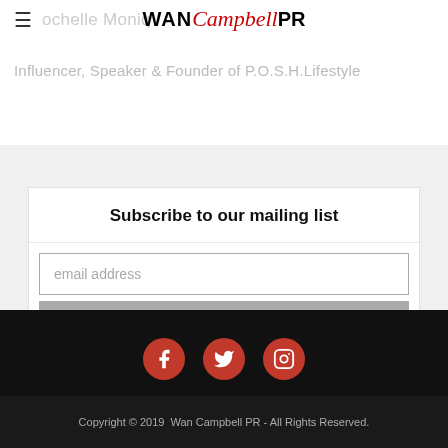WAN Campbell PR
ochelle Moniq… Influencer, Speaker & Founder of P.O.S.H.Lifestyle
Subscribe to our mailing list
email address
Subscribe
[Figure (infographic): Three red circular social media icons: Facebook, Twitter, Instagram on a black background]
Copyright © 2019  Wan Campbell PR - All Rights Reserved.